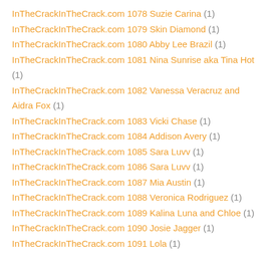InTheCrackInTheCrack.com 1078 Suzie Carina (1)
InTheCrackInTheCrack.com 1079 Skin Diamond (1)
InTheCrackInTheCrack.com 1080 Abby Lee Brazil (1)
InTheCrackInTheCrack.com 1081 Nina Sunrise aka Tina Hot (1)
InTheCrackInTheCrack.com 1082 Vanessa Veracruz and Aidra Fox (1)
InTheCrackInTheCrack.com 1083 Vicki Chase (1)
InTheCrackInTheCrack.com 1084 Addison Avery (1)
InTheCrackInTheCrack.com 1085 Sara Luvv (1)
InTheCrackInTheCrack.com 1086 Sara Luvv (1)
InTheCrackInTheCrack.com 1087 Mia Austin (1)
InTheCrackInTheCrack.com 1088 Veronica Rodriguez (1)
InTheCrackInTheCrack.com 1089 Kalina Luna and Chloe (1)
InTheCrackInTheCrack.com 1090 Josie Jagger (1)
InTheCrackInTheCrack.com 1091 Lola (1)